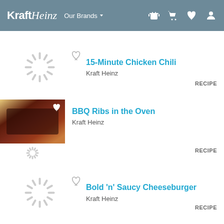KraftHeinz  Our Brands
15-Minute Chicken Chili | Kraft Heinz | RECIPE
BBQ Ribs in the Oven | Kraft Heinz | RECIPE
Bold 'n' Saucy Cheeseburger | Kraft Heinz | RECIPE